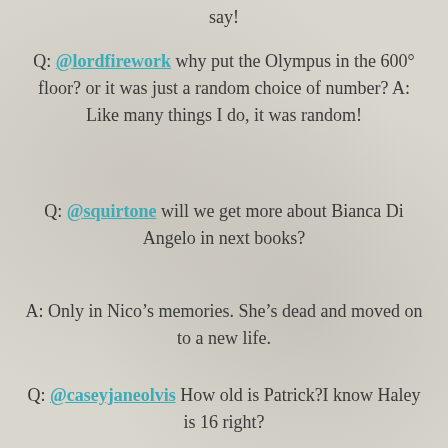say!
Q: @lordfirework why put the Olympus in the 600° floor? or it was just a random choice of number? A: Like many things I do, it was random!
Q: @squirtone will we get more about Bianca Di Angelo in next books?
A: Only in Nico's memories. She's dead and moved on to a new life.
Q: @caseyjaneolvis How old is Patrick?I know Haley is 16 right?
A: Patrick is 14. Haley WAS 16 when he wrote that story. He just turned 18. Remember there's a delay